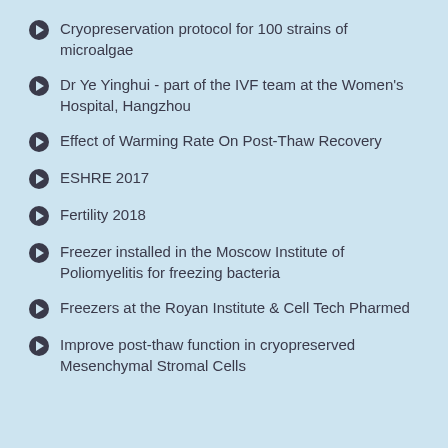Cryopreservation protocol for 100 strains of microalgae
Dr Ye Yinghui - part of the IVF team at the Women's Hospital, Hangzhou
Effect of Warming Rate On Post-Thaw Recovery
ESHRE 2017
Fertility 2018
Freezer installed in the Moscow Institute of Poliomyelitis for freezing bacteria
Freezers at the Royan Institute & Cell Tech Pharmed
Improve post-thaw function in cryopreserved Mesenchymal Stromal Cells